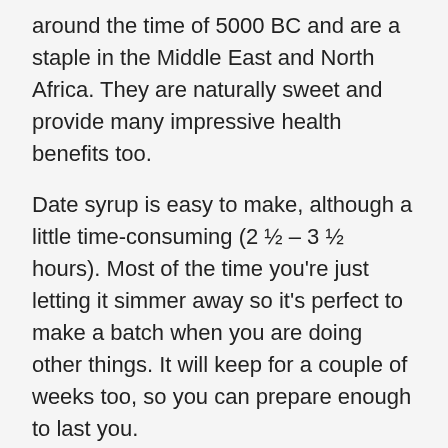around the time of 5000 BC and are a staple in the Middle East and North Africa. They are naturally sweet and provide many impressive health benefits too.
Date syrup is easy to make, although a little time-consuming (2 ½ – 3 ½ hours). Most of the time you're just letting it simmer away so it's perfect to make a batch when you are doing other things. It will keep for a couple of weeks too, so you can prepare enough to last you.
By making date syrup at home you can monitor exactly how many dates you use and could increase the water content if you want it even less sweet. I have already increased the ratio of water to dates in